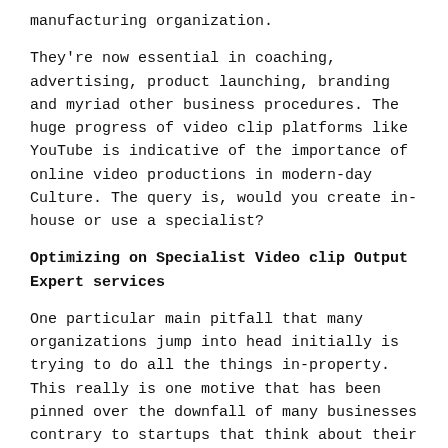manufacturing organization.
They're now essential in coaching, advertising, product launching, branding and myriad other business procedures. The huge progress of video clip platforms like YouTube is indicative of the importance of online video productions in modern-day Culture. The query is, would you create in-house or use a specialist?
Optimizing on Specialist Video clip Output Expert services
One particular main pitfall that many organizations jump into head initially is trying to do all the things in-property. This really is one motive that has been pinned over the downfall of many businesses contrary to startups that think about their core organization.